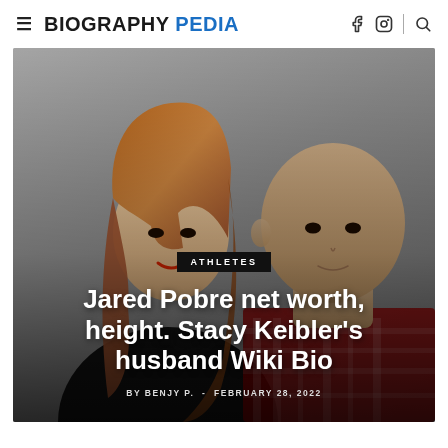BIOGRAPHY PEDIA
[Figure (photo): A couple posing together — a woman with long auburn hair and a man with a shaved head wearing a plaid shirt, in front of a gray background. Overlaid text reads: ATHLETES / Jared Pobre net worth, height. Stacy Keibler's husband Wiki Bio / BY BENJY P. - FEBRUARY 28, 2022]
Jared Pobre net worth, height. Stacy Keibler's husband Wiki Bio
BY BENJY P. - FEBRUARY 28, 2022